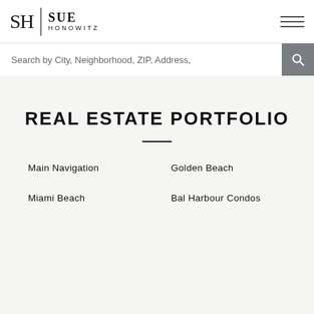[Figure (logo): SH Sue Honowitz real estate logo with serif SH monogram, vertical divider, and stacked SUE HONOWITZ text]
Search by City, Neighborhood, ZIP, Address,
REAL ESTATE PORTFOLIO
Main Navigation
Golden Beach
Miami Beach
Bal Harbour Condos